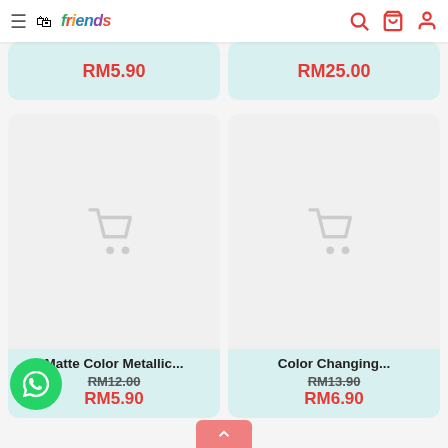Friends store header with logo and navigation icons
[Figure (screenshot): Top partial product cards showing prices RM5.90 and RM25.00]
[Figure (screenshot): Bottom product card: Matte Color Metallic... original RM12.00 sale RM5.90]
[Figure (screenshot): Bottom product card: Color Changing... original RM13.90 sale RM6.90]